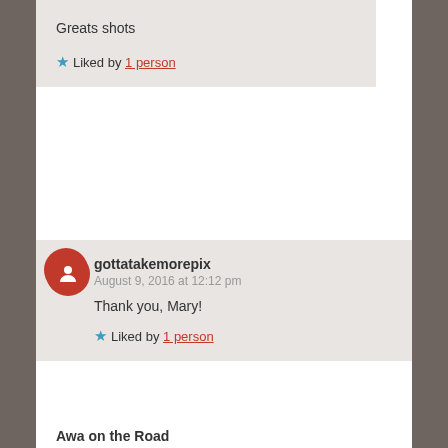Greats shots
★ Liked by 1 person
gottatakemorepix
August 9, 2016 at 12:12 pm

Thank you, Mary!

★ Liked by 1 person
Awa on the Road
August 17, 2016 at 6:33 am

For such views I could get up even by night 🙂 I would join you.

★ Liked by 1 person